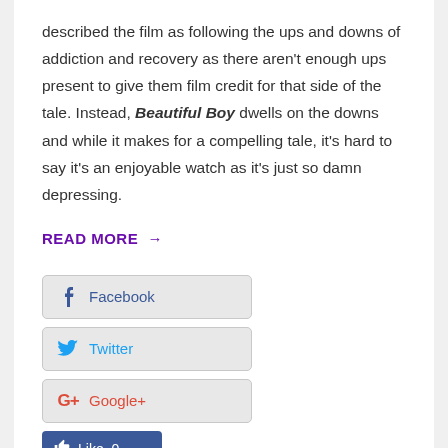described the film as following the ups and downs of addiction and recovery as there aren't enough ups present to give them film credit for that side of the tale. Instead, Beautiful Boy dwells on the downs and while it makes for a compelling tale, it's hard to say it's an enjoyable watch as it's just so damn depressing.
READ MORE →
Facebook
Twitter
Google+
Like 0
Reddit